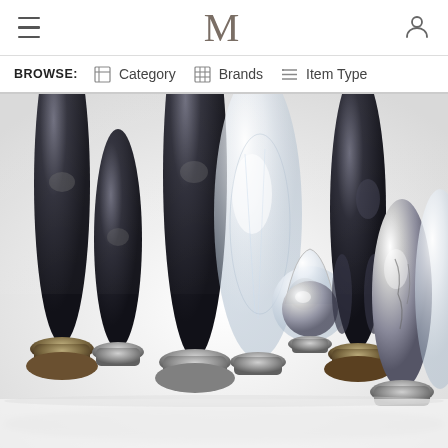M
BROWSE: Category  Brands  Item Type
[Figure (photo): Collection of silver and dark glass decorative objects of various organic teardrop and egg shapes arranged in a row on a white surface, photographed against a white background. Objects vary in height and have ornate metallic bases.]